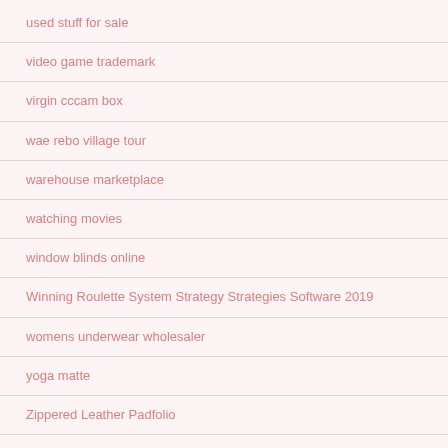used stuff for sale
video game trademark
virgin cccam box
wae rebo village tour
warehouse marketplace
watching movies
window blinds online
Winning Roulette System Strategy Strategies Software 2019
womens underwear wholesaler
yoga matte
Zippered Leather Padfolio